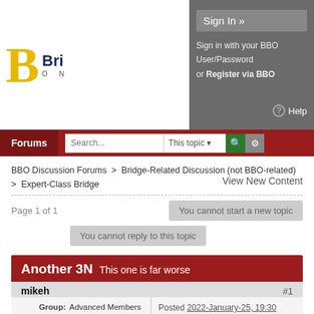BBO - Bridge Base Online - Sign In
Sign In »
Sign in with your BBO User/Password or Register via BBO
Help
Forums
BBO Discussion Forums > Bridge-Related Discussion (not BBO-related) > Expert-Class Bridge
View New Content
Page 1 of 1
You cannot start a new topic
You cannot reply to this topic
Another 3N This one is far worse
mikeh #1
Posted 2022-January-25, 19:30
Group: Advanced Members
Posts: 11,773
Joined: 2005-June-15
Gender: Male
Location: Canada
Interests: Bridge, golf, wine (red)